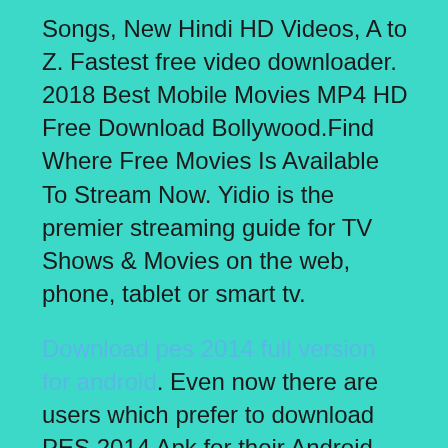Songs, New Hindi HD Videos, A to Z. Fastest free video downloader. 2018 Best Mobile Movies MP4 HD Free Download Bollywood.Find Where Free Movies Is Available To Stream Now. Yidio is the premier streaming guide for TV Shows & Movies on the web, phone, tablet or smart tv.
Download pes 2014 full version for android. Even now there are users which prefer to download PES 2014 Apk for their Android device because of many reasons. PES games are available in specific locations only so, if you are not included in that range and still want to download the game you can do it by download the Apk version of the game. PES 2014 Apk pro Evolution can be downloaded from. Mar 30, 2018  PES 2014 APK Download Data Zip Full Version for Android is here and it is the latest. This is a rear working download link you can see online, so hop in here to enjoy PES 2014 APK